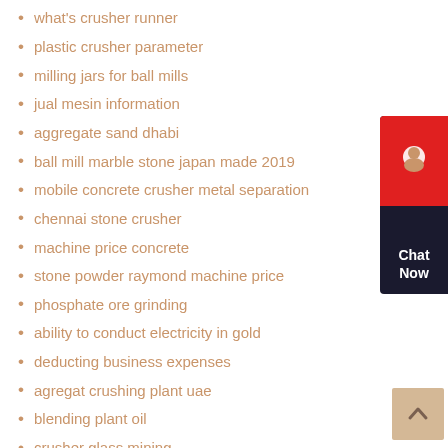what's crusher runner
plastic crusher parameter
milling jars for ball mills
jual mesin information
aggregate sand dhabi
ball mill marble stone japan made 2019
mobile concrete crusher metal separation
chennai stone crusher
machine price concrete
stone powder raymond machine price
phosphate ore grinding
ability to conduct electricity in gold
deducting business expenses
agregat crushing plant uae
blending plant oil
crusher glass mining
gold ore concentration crushing machine
coal mining trapped
curtain rod curtains
crusher sale seed
apple crusher 04